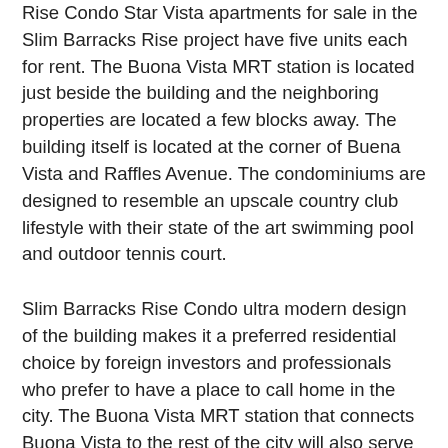Rise Condo Star Vista apartments for sale in the Slim Barracks Rise project have five units each for rent. The Buona Vista MRT station is located just beside the building and the neighboring properties are located a few blocks away. The building itself is located at the corner of Buena Vista and Raffles Avenue. The condominiums are designed to resemble an upscale country club lifestyle with their state of the art swimming pool and outdoor tennis court.
Slim Barracks Rise Condo ultra modern design of the building makes it a preferred residential choice by foreign investors and professionals who prefer to have a place to call home in the city. The Buona Vista MRT station that connects Buona Vista to the rest of the city will also serve as a major artery as it carries the voice of many nearby attractions such as Sentosa, Marina Bay and the Universal Studios theme parks. Buona Vista is